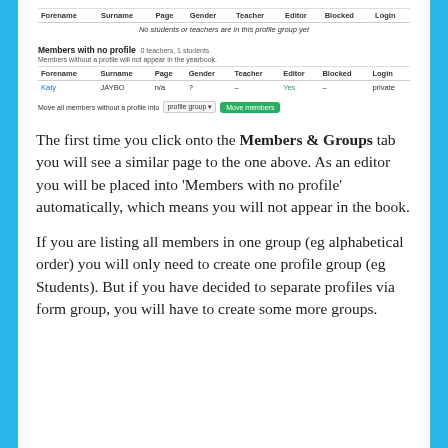[Figure (screenshot): Screenshot of a yearbook admin interface showing two tables: one empty profile group table with columns Forename, Surname, Page, Gender, Teacher, Editor, Blocked, Login and a message 'No students or teachers are in this profile group yet'; and a 'Members with no profile' section (0 teachers, 1 students) with note 'Members without a profile will not appear in the yearbook.' and a table row for Katy JAYBO, n/a, ?, -, Yes, -, private. Below is a 'Move all members without a profile into [profile group] Move members' control.]
The first time you click onto the Members & Groups tab you will see a similar page to the one above. As an editor you will be placed into 'Members with no profile' automatically, which means you will not appear in the book.

If you are listing all members in one group (eg alphabetical order) you will only need to create one profile group (eg Students). But if you have decided to separate profiles via form group, you will have to create some more groups.